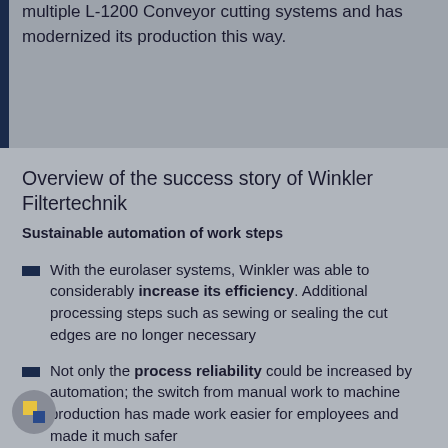multiple L-1200 Conveyor cutting systems and has modernized its production this way.
Overview of the success story of Winkler Filtertechnik
Sustainable automation of work steps
With the eurolaser systems, Winkler was able to considerably increase its efficiency. Additional processing steps such as sewing or sealing the cut edges are no longer necessary
Not only the process reliability could be increased by automation; the switch from manual work to machine production has made work easier for employees and made it much safer